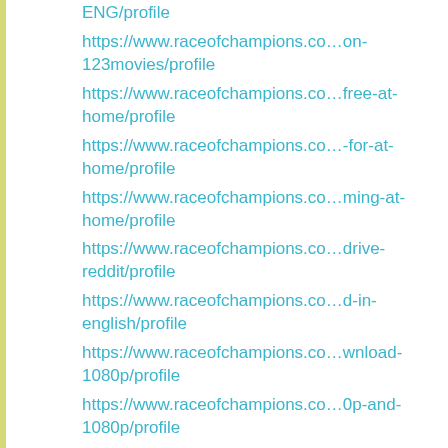ENG/profile
https://www.raceofchampions.co…on-123movies/profile
https://www.raceofchampions.co…free-at-home/profile
https://www.raceofchampions.co…-for-at-home/profile
https://www.raceofchampions.co…ming-at-home/profile
https://www.raceofchampions.co…drive-reddit/profile
https://www.raceofchampions.co…d-in-english/profile
https://www.raceofchampions.co…wnload-1080p/profile
https://www.raceofchampions.co…0p-and-1080p/profile
https://www.raceofchampions.co…ng-heres-